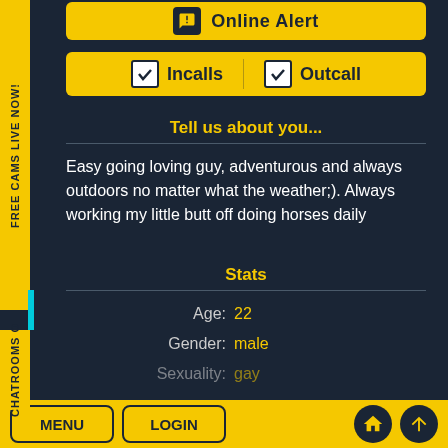[Figure (screenshot): Online Alert button with megaphone icon]
[Figure (screenshot): Incalls and Outcalls checkboxes row]
Tell us about you...
Easy going loving guy, adventurous and always outdoors no matter what the weather;). Always working my little butt off doing horses daily
Stats
Age: 22
Gender: male
Sexuality: gay
MENU  LOGIN